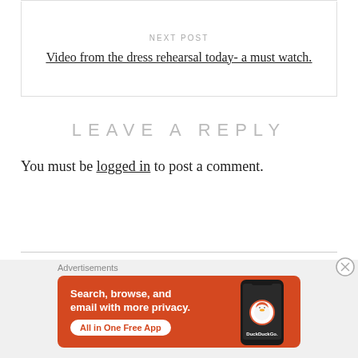NEXT POST
Video from the dress rehearsal today- a must watch.
LEAVE A REPLY
You must be logged in to post a comment.
Advertisements
[Figure (screenshot): DuckDuckGo advertisement banner: orange background with text 'Search, browse, and email with more privacy. All in One Free App' and DuckDuckGo logo with phone graphic]